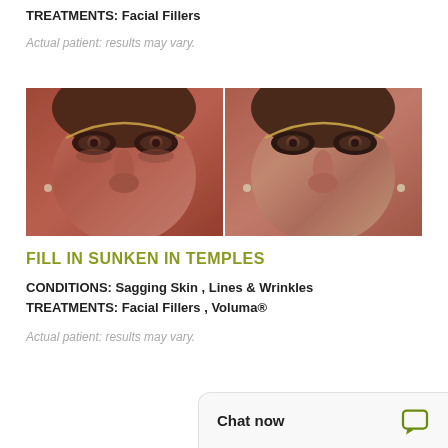TREATMENTS: Facial Fillers
Actual patient: results may vary.
[Figure (photo): Before and after side-by-side photos of a female patient showing temple area treatment with facial fillers. Left image is before, right image is after, both showing close-up of face from a slight upward angle.]
FILL IN SUNKEN IN TEMPLES
CONDITIONS: Sagging Skin , Lines & Wrinkles
TREATMENTS: Facial Fillers , Voluma®
Actual patient: results may vary.
Chat now